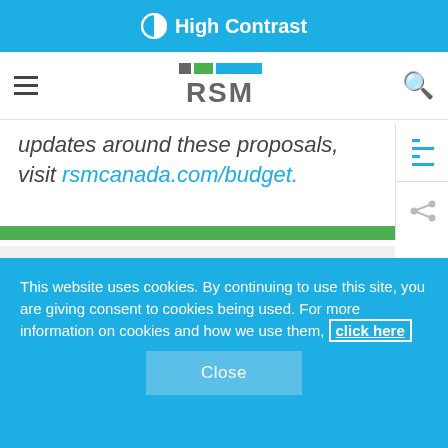High Contrast
[Figure (logo): RSM logo with gray, green, and blue blocks above RSM text]
updates around these proposals, visit rsmcanada.com/budget.
[Figure (logo): RSM logo smaller version in gray section]
This website uses cookies. By continuing to use this site, you are giving consent to cookies being used. For more information on cookies and how we use them, click here
Close